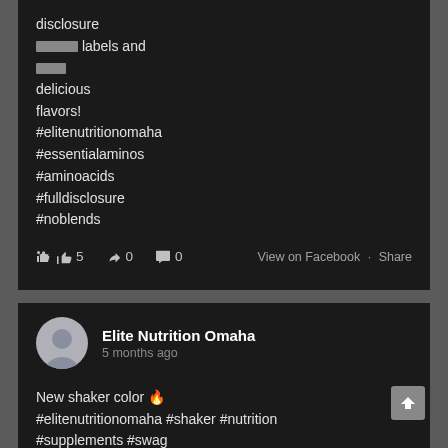disclosure
[redacted] labels and [redacted]
delicious
flavors!
#elitenutritionomaha
#essentialaminos
#aminoacids
#fulldisclosure
#noblends
👍 5  🔁 0  💬 0   View on Facebook · Share
Elite Nutrition Omaha
5 months ago
New shaker color 🔥
#elitenutritionomaha #shaker #nutrition
#supplements #swag
👍 2  🔁 0  💬 0   View on Facebook · Share